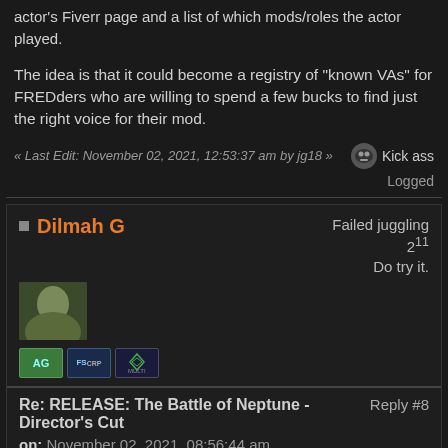actor's Fiverr page and a list of which mods/roles the actor played.
The idea is that it could become a registry of "known VAs" for FREDders who are willing to spend a few bucks to find just the right voice for their mod.
« Last Edit: November 02, 2021, 12:53:37 am by jg18 »
Kick ass
Logged
Dilmah G
Failed juggling 2^11
Do try it.
Re: RELEASE: The Battle of Neptune - Director's Cut   Reply #8
on: November 02, 2021, 08:56:44 am
Quote from: Colonol Dekker on October 31, 2021, 04:59:15 am